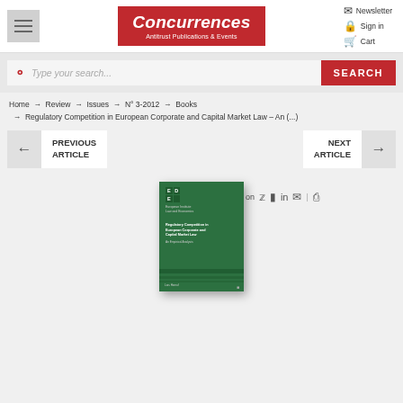[Figure (screenshot): Concurrences website header with logo, navigation icons (Newsletter, Sign in, Cart), hamburger menu, search bar, breadcrumb navigation, previous/next article buttons, and a book cover image for 'Regulatory Competition in European Corporate and Capital Market Law']
Concurrences – Antitrust Publications & Events
Newsletter  Sign in  Cart
Type your search...  SEARCH
Home → Review → Issues → N° 3-2012 → Books → Regulatory Competition in European Corporate and Capital Market Law – An (...)
← PREVIOUS ARTICLE    NEXT ARTICLE →
Share on
[Figure (photo): Green book cover: Regulatory Competition in European Corporate and Capital Market Law – An Empirical Analysis]